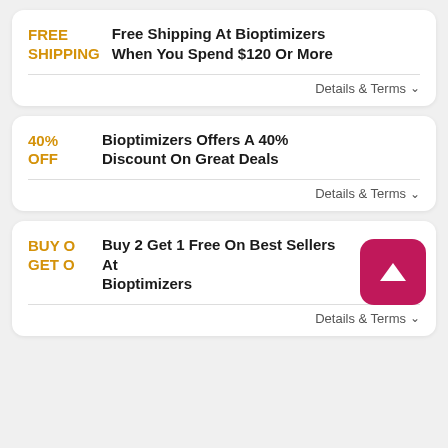FREE SHIPPING — Free Shipping At Bioptimizers When You Spend $120 Or More — Details & Terms
40% OFF — Bioptimizers Offers A 40% Discount On Great Deals — Details & Terms
BUY O GET O — Buy 2 Get 1 Free On Best Sellers At Bioptimizers — Details & Terms